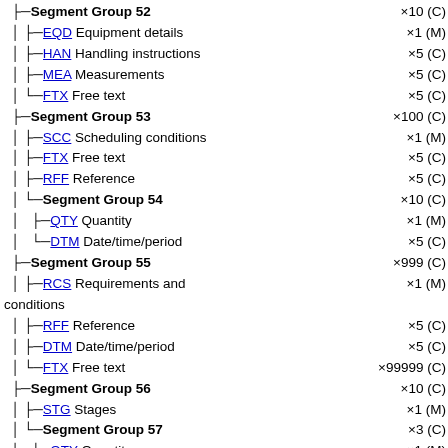Segment Group 52 ×10 (C)
EQD Equipment details ×1 (M)
HAN Handling instructions ×5 (C)
MEA Measurements ×5 (C)
FTX Free text ×5 (C)
Segment Group 53 ×100 (C)
SCC Scheduling conditions ×1 (M)
FTX Free text ×5 (C)
RFF Reference ×5 (C)
Segment Group 54 ×10 (C)
QTY Quantity ×1 (M)
DTM Date/time/period ×5 (C)
Segment Group 55 ×999 (C)
RCS Requirements and conditions ×1 (M)
RFF Reference ×5 (C)
DTM Date/time/period ×5 (C)
FTX Free text ×99999 (C)
Segment Group 56 ×10 (C)
STG Stages ×1 (M)
Segment Group 57 ×3 (C)
QTY Quantity ×1 (M)
MOA Monetary amount ×1 (C)
Segment Group 58 ×999 (C)
DGS Dangerous goods ×1 (M)
FTX Free text ×5 (C)
Segment Group 59 ×99 (C)